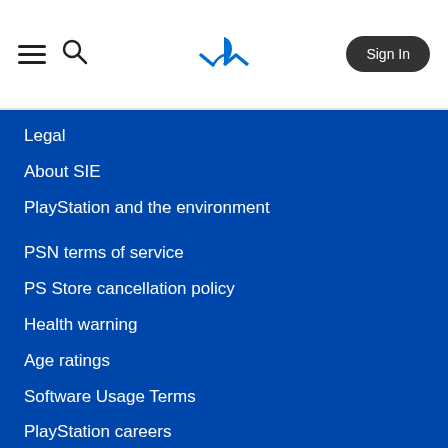Menu | Search | PlayStation Logo | Sign In
Legal
About SIE
PlayStation and the environment
PSN terms of service
PS Store cancellation policy
Health warning
Age ratings
Software Usage Terms
PlayStation careers
Site map
Facebook
Twitter
YouTube